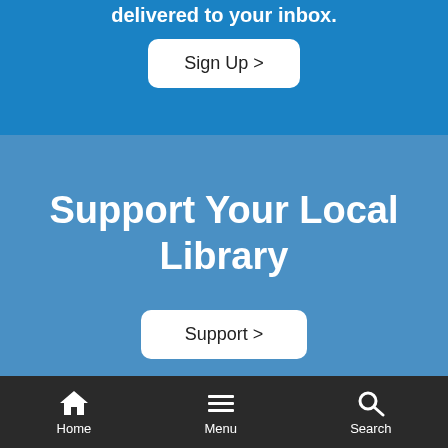delivered to your inbox.
Sign Up >
Support Your Local Library
Support >
Home  Menu  Search